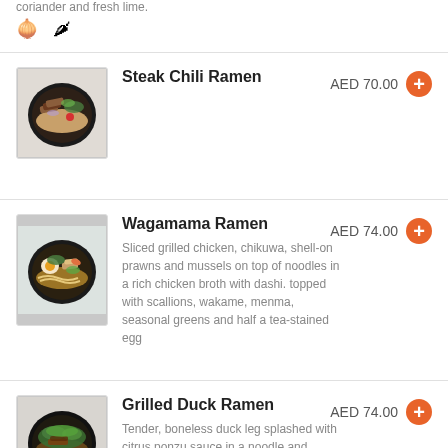coriander and fresh lime.
[Figure (infographic): Garlic emoji and chili pepper emoji icons indicating allergen/spice information]
Steak Chili Ramen — AED 70.00
[Figure (photo): Photo of Steak Chili Ramen bowl with sliced steak]
Wagamama Ramen — AED 74.00 — Sliced grilled chicken, chikuwa, shell-on prawns and mussels on top of noodles in a rich chicken broth with dashi. topped with scallions, wakame, menma, seasonal greens and half a tea-stained egg
[Figure (photo): Photo of Wagamama Ramen bowl with egg, chicken and vegetables]
Grilled Duck Ramen — AED 74.00 — Tender, boneless duck leg splashed with citrus ponzu sauce in a noodle and vegetable broth
[Figure (photo): Photo of Grilled Duck Ramen bowl]